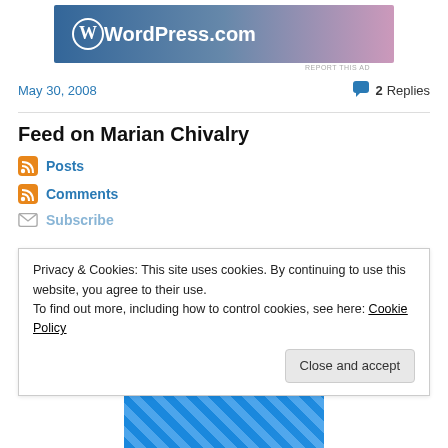[Figure (logo): WordPress.com advertisement banner with logo and gradient blue-pink background]
REPORT THIS AD
May 30, 2008
2 Replies
Feed on Marian Chivalry
Posts
Comments
Subscribe
Privacy & Cookies: This site uses cookies. By continuing to use this website, you agree to their use.
To find out more, including how to control cookies, see here: Cookie Policy
Close and accept